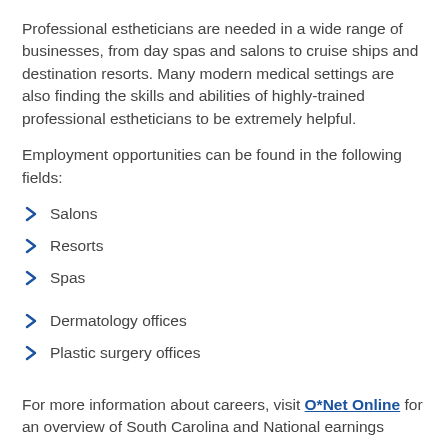Professional estheticians are needed in a wide range of businesses, from day spas and salons to cruise ships and destination resorts. Many modern medical settings are also finding the skills and abilities of highly-trained professional estheticians to be extremely helpful.
Employment opportunities can be found in the following fields:
Salons
Resorts
Spas
Dermatology offices
Plastic surgery offices
For more information about careers, visit O*Net Online for an overview of South Carolina and National earnings